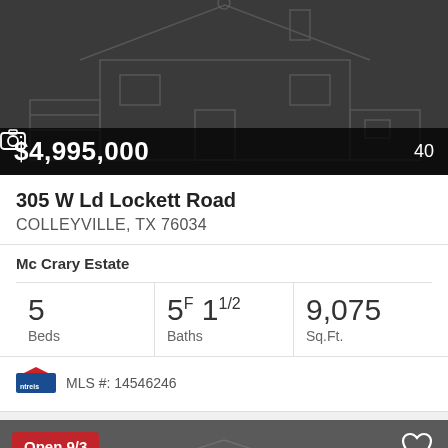[Figure (photo): Dark background property listing photo placeholder with house outline illustration]
$4,995,000
40 photos
305 W Ld Lockett Road
COLLEYVILLE, TX 76034
Mc Crary Estate
5 Beds
5F 1 1/2 Baths
9,075 Sq.Ft.
MLS #: 14546246
[Figure (photo): Second property listing with dark grey background, house outline, Open 9/3 badge and heart icon]